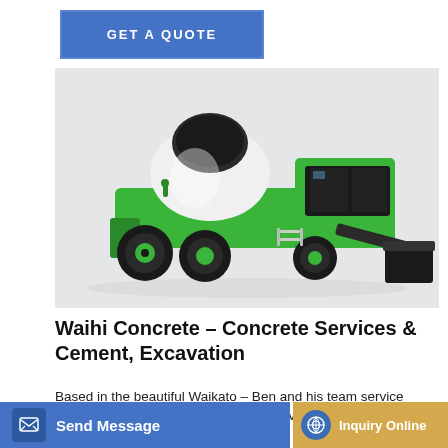GET A QUOTE
[Figure (photo): Green concrete mixer truck with a large drum, cab, and front loader bucket on a white/light grey background.]
Waihi Concrete – Concrete Services & Cement, Excavation
Based in the beautiful Waikato – Ben and his team service Waihi, Whin competitive rates and prompt service. Get in touch and get
Send Message
Inquiry Online